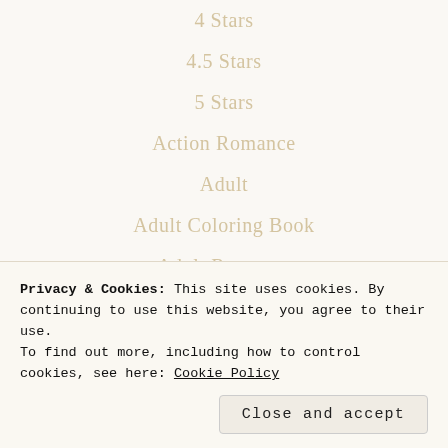4 Stars
4.5 Stars
5 Stars
Action Romance
Adult
Adult Coloring Book
Adult Romance
Adult Suspense
Alpha male
Alpha-hero
Privacy & Cookies: This site uses cookies. By continuing to use this website, you agree to their use.
To find out more, including how to control cookies, see here: Cookie Policy
Close and accept